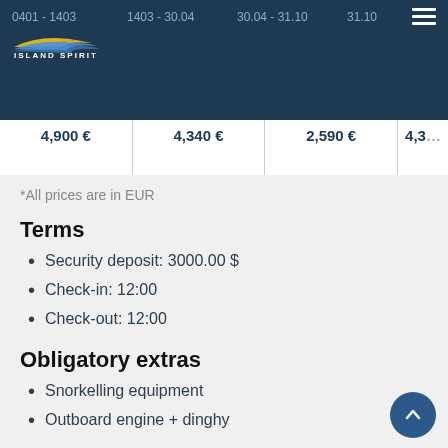Island Spirit — 0401-1403 | 1403-30.04 | 30.04-31.10 | 31.10
| 0401 - 1403 | 1403 - 30.04 | 30.04 - 31.10 | 31.10 |
| --- | --- | --- | --- |
| 4,900 € | 4,340 € | 2,590 € | 4,3… |
*All prices are in EUR
Terms
Security deposit: 3000.00 $
Check-in: 12:00
Check-out: 12:00
Obligatory extras
Snorkelling equipment
Outboard engine + dinghy